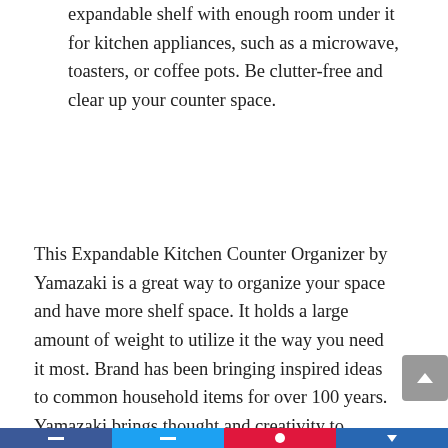expandable shelf with enough room under it for kitchen appliances, such as a microwave, toasters, or coffee pots. Be clutter-free and clear up your counter space.
This Expandable Kitchen Counter Organizer by Yamazaki is a great way to organize your space and have more shelf space. It holds a large amount of weight to utilize it the way you need it most. Brand has been bringing inspired ideas to common household items for over 100 years. Yamazaki brings thought and creativity to everyday items through design inspired by life in Japan. Life in Japan, and any city, leaves residents short on space. With this, they focus on